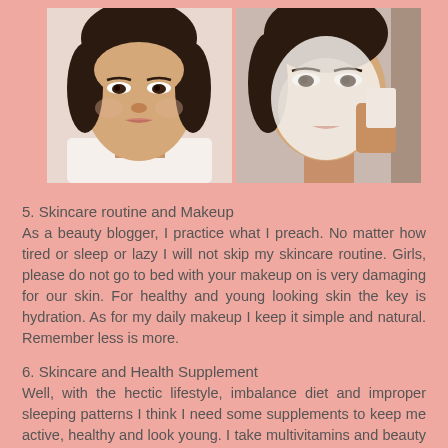[Figure (photo): Two side-by-side photos of a woman: left photo shows her face bare/natural, right photo shows her applying or removing a white face mask]
5. Skincare routine and Makeup
As a beauty blogger, I practice what I preach. No matter how tired or sleep or lazy I will not skip my skincare routine. Girls, please do not go to bed with your makeup on is very damaging for our skin. For healthy and young looking skin the key is hydration. As for my daily makeup I keep it simple and natural. Remember less is more.
6. Skincare and Health Supplement
Well, with the hectic lifestyle, imbalance diet and improper sleeping patterns I think I need some supplements to keep me active, healthy and look young. I take multivitamins and beauty drink everyday to boost my energy and vitality.